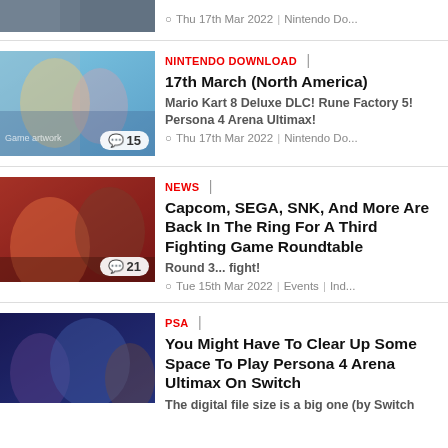[Figure (screenshot): Partial top article thumbnail showing game artwork]
Thu 17th Mar 2022 | Nintendo Do...
[Figure (screenshot): Nintendo Download 17th March article thumbnail with anime game characters and comment badge 15]
NINTENDO DOWNLOAD | 17th March (North America)
Mario Kart 8 Deluxe DLC! Rune Factory 5! Persona 4 Arena Ultimax!
Thu 17th Mar 2022 | Nintendo Do...
[Figure (screenshot): Fighting game roundtable article thumbnail with Street Fighter characters and comment badge 21]
NEWS | Capcom, SEGA, SNK, And More Are Back In The Ring For A Third Fighting Game Roundtable
Round 3... fight!
Tue 15th Mar 2022 | Events | Ind...
[Figure (screenshot): Persona 4 Arena Ultimax on Switch article thumbnail with game characters]
PSA | You Might Have To Clear Up Some Space To Play Persona 4 Arena Ultimax On Switch
The digital file size is a big one (by Switch standards).